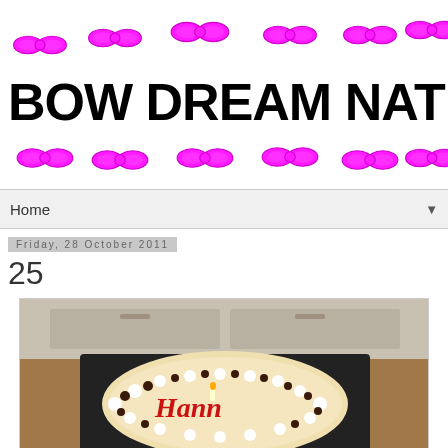[Figure (illustration): Blog header banner for 'BOW DREAM NATION' with bold black text over white background decorated with bright pink/magenta bow icons scattered across the top and bottom]
Home ▼
Friday, 28 October 2011
25
[Figure (photo): Birthday cake with 'Hann' visible in red icing lettering, decorated with white cream dollops and dark chocolate pieces, in a black box on a wooden surface, kitchen cabinets visible in background]